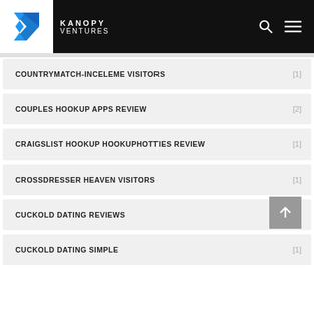KANOPY VENTURES
COUNTRYMATCH-INCELEME VISITORS [1]
COUPLES HOOKUP APPS REVIEW [2]
CRAIGSLIST HOOKUP HOOKUPHOTTIES REVIEW [1]
CROSSDRESSER HEAVEN VISITORS [1]
CUCKOLD DATING REVIEWS [1]
CUCKOLD DATING SIMPLE [1]